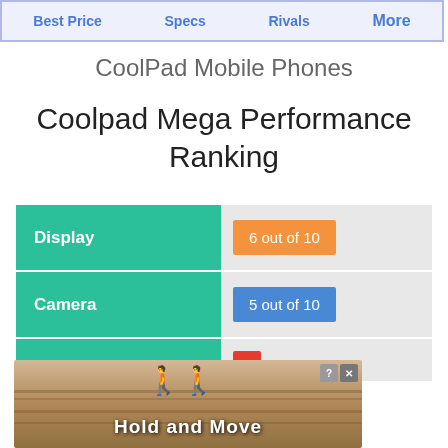Best Price  Specs  Rivals  More
CoolPad Mobile Phones
Coolpad Mega Performance Ranking
[Figure (infographic): Performance ranking table with teal category labels on left and colored score badges on right. Display: 6 out of 10 (orange badge), Camera: 5 out of 10 (blue badge), third row partially visible with red badge. An advertisement overlay shows 'Hold and Move' with cartoon figures at the bottom.]
[Figure (other): Advertisement overlay showing 'Hold and Move' text with blue cartoon stick figures on a wooden background.]